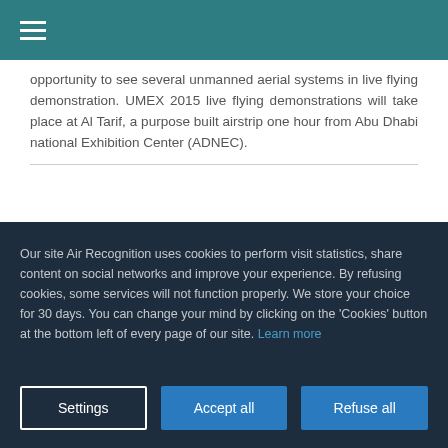☰
opportunity to see several unmanned aerial systems in live flying demonstration. UMEX 2015 live flying demonstrations will take place at Al Tarif, a purpose built airstrip one hour from Abu Dhabi national Exhibition Center (ADNEC).
Our site Air Recognition uses cookies to perform visit statistics, share content on social networks and improve your experience. By refusing cookies, some services will not function properly. We store your choice for 30 days. You can change your mind by clicking on the 'Cookies' button at the bottom left of every page of our site. Learn more
Settings
Accept all
Refuse all